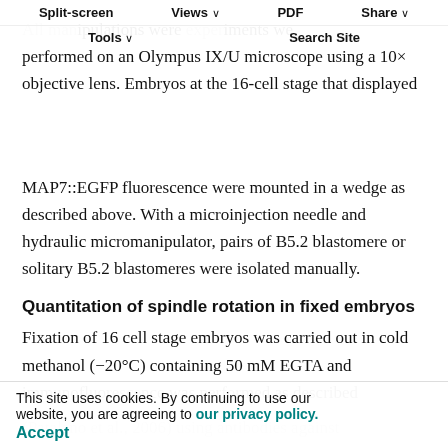Split-screen  Views ∨  PDF  Share ∨  Tools ∨  Search Site
All manipulations were performed on an Olympus IX/U microscope using a 10× objective lens. Embryos at the 16-cell stage that displayed MAP7::EGFP fluorescence were mounted in a wedge as described above. With a microinjection needle and hydraulic micromanipulator, pairs of B5.2 blastomere or solitary B5.2 blastomeres were isolated manually.
Quantitation of spindle rotation in fixed embryos
Fixation of 16 cell stage embryos was carried out in cold methanol (−20°C) containing 50 mM EGTA and immunofluorescence was performed as described (Patalano et al., 2006) using antibodies against the CABS domain and anti-α-tubulin DM1A (Sigma) or YL1/2 (AbCam) to label
This site uses cookies. By continuing to use our website, you are agreeing to our privacy policy. Accept